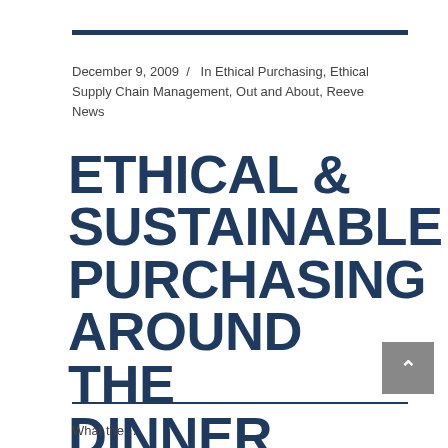December 9, 2009  /  In Ethical Purchasing, Ethical Supply Chain Management, Out and About, Reeve News
ETHICAL & SUSTAINABLE PURCHASING AROUND THE DINNER TABLE
What the...